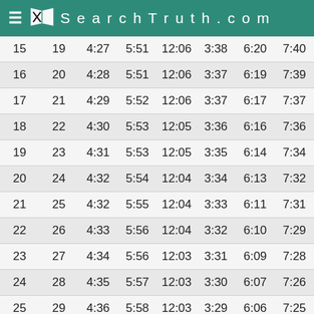SearchTruth.com
| 15 | 19 | 4:27 | 5:51 | 12:06 | 3:38 | 6:20 | 7:40 |
| 16 | 20 | 4:28 | 5:51 | 12:06 | 3:37 | 6:19 | 7:39 |
| 17 | 21 | 4:29 | 5:52 | 12:06 | 3:37 | 6:17 | 7:37 |
| 18 | 22 | 4:30 | 5:53 | 12:05 | 3:36 | 6:16 | 7:36 |
| 19 | 23 | 4:31 | 5:53 | 12:05 | 3:35 | 6:14 | 7:34 |
| 20 | 24 | 4:32 | 5:54 | 12:04 | 3:34 | 6:13 | 7:32 |
| 21 | 25 | 4:32 | 5:55 | 12:04 | 3:33 | 6:11 | 7:31 |
| 22 | 26 | 4:33 | 5:56 | 12:04 | 3:32 | 6:10 | 7:29 |
| 23 | 27 | 4:34 | 5:56 | 12:03 | 3:31 | 6:09 | 7:28 |
| 24 | 28 | 4:35 | 5:57 | 12:03 | 3:30 | 6:07 | 7:26 |
| 25 | 29 | 4:36 | 5:58 | 12:03 | 3:29 | 6:06 | 7:25 |